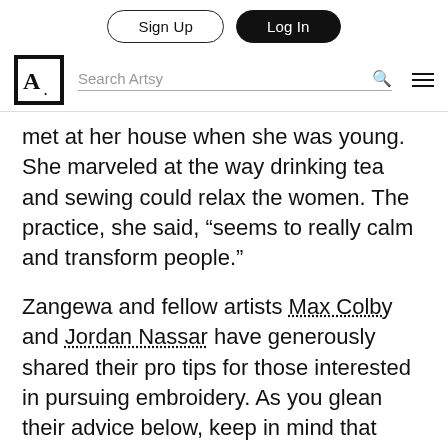Sign Up | Log In
A. | Search Artsy
met at her house when she was young. She marveled at the way drinking tea and sewing could relax the women. The practice, she said, “seems to really calm and transform people.”
Zangewa and fellow artists Max Colby and Jordan Nassar have generously shared their pro tips for those interested in pursuing embroidery. As you glean their advice below, keep in mind that there are many methods